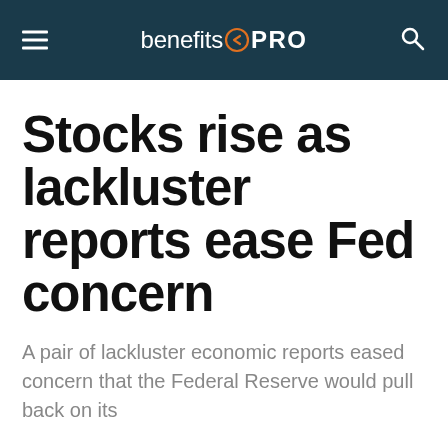benefitsPRO
Stocks rise as lackluster reports ease Fed concern
A pair of lackluster economic reports eased concern that the Federal Reserve would pull back on its